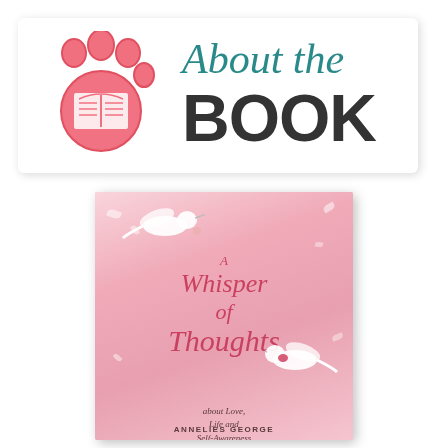[Figure (logo): About the Book logo: pink paw print with open book icon inside, beside italic teal 'About the' and bold dark 'BOOK' text, on white rounded rectangle banner]
[Figure (photo): Book cover for 'A Whisper of Thoughts about Love, Life and Self-Awareness' by Annelies George. Pink/rose gradient background with two white hummingbirds and scattered petals. Italic rose-colored title text centered.]